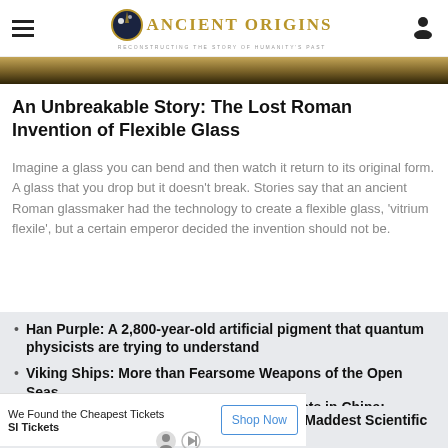Ancient Origins — Reconstructing the Story of Humanity's Past
[Figure (photo): Hero image strip showing a golden/dark textured background (ancient artifacts)]
An Unbreakable Story: The Lost Roman Invention of Flexible Glass
Imagine a glass you can bend and then watch it return to its original form. A glass that you drop but it doesn't break. Stories say that an ancient Roman glassmaker had the technology to create a flexible glass, 'vitrium flexile', but a certain emperor decided the invention should not be.
Han Purple: A 2,800-year-old artificial pigment that quantum physicists are trying to understand
Viking Ships: More than Fearsome Weapons of the Open Seas
[Figure (photo): Small thumbnail image of article in China]
Tycho the Psycho? Meet One of History's Maddest Scientific Minds Ever!